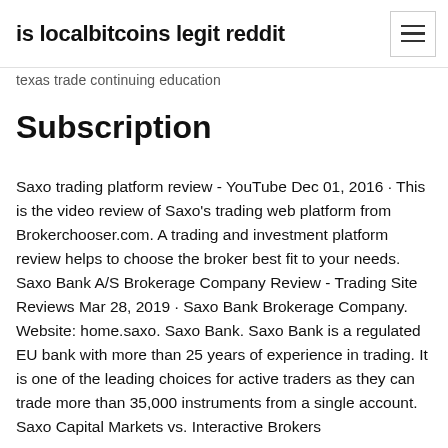is localbitcoins legit reddit
texas trade continuing education
Subscription
Saxo trading platform review - YouTube Dec 01, 2016 · This is the video review of Saxo's trading web platform from Brokerchooser.com. A trading and investment platform review helps to choose the broker best fit to your needs. Saxo Bank A/S Brokerage Company Review - Trading Site Reviews Mar 28, 2019 · Saxo Bank Brokerage Company. Website: home.saxo. Saxo Bank. Saxo Bank is a regulated EU bank with more than 25 years of experience in trading. It is one of the leading choices for active traders as they can trade more than 35,000 instruments from a single account. Saxo Capital Markets vs. Interactive Brokers
Denmark's Saxo Bank has unveiled SaxoTraderPRO, a new platform for traders and institutional clients.. The platform offers multi-screen trading and is customisable for both Windows and Mac with no monthly fees. Kim Fournais, founder